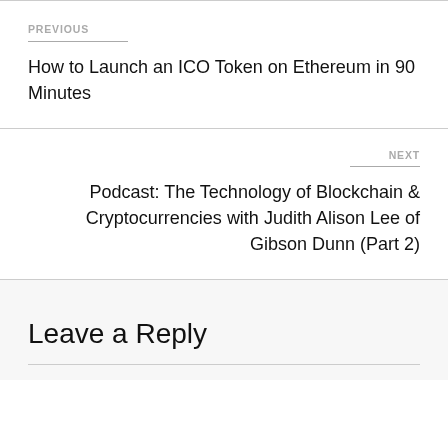PREVIOUS
How to Launch an ICO Token on Ethereum in 90 Minutes
NEXT
Podcast: The Technology of Blockchain & Cryptocurrencies with Judith Alison Lee of Gibson Dunn (Part 2)
Leave a Reply